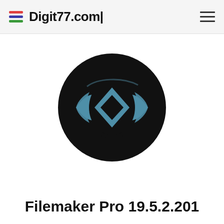Digit77.com|
[Figure (logo): FileMaker Pro application logo: black circle containing a steel-blue eye-like shape with a diamond in the center]
Filemaker Pro 19.5.2.201